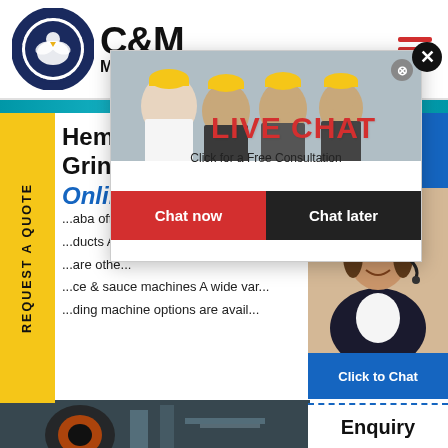[Figure (logo): C&M Mining Machinery logo with eagle in gear circle and company name]
[Figure (other): Hamburger menu icon with three red horizontal lines]
Hemp Grinding Machine, Hemp Grinding Hours Online
...aba offers ...ducts A ... are other ...ce & sauce machines A wide var...ding machine options are avail...
[Figure (screenshot): Live Chat popup overlay with workers in hard hats, LIVE CHAT heading in red, subtitle 'Click for a Free Consultation', Chat now (red) and Chat later (dark) buttons]
[Figure (photo): Industrial mining machinery photo at bottom of page]
[Figure (other): Right side panel with 24 Hours Online banner, female customer service agent photo, Click to Chat button, and Enquiry text]